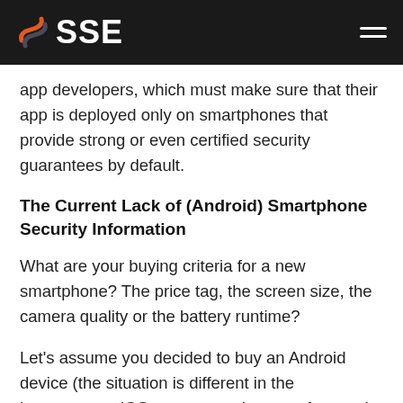SSE
app developers, which must make sure that their app is deployed only on smartphones that provide strong or even certified security guarantees by default.
The Current Lack of (Android) Smartphone Security Information
What are your buying criteria for a new smartphone? The price tag, the screen size, the camera quality or the battery runtime?
Let's assume you decided to buy an Android device (the situation is different in the homogenous iOS ecosystem, but out of scope in this article.): How do you compare devices, and where do you get information about its specifications? For the generic